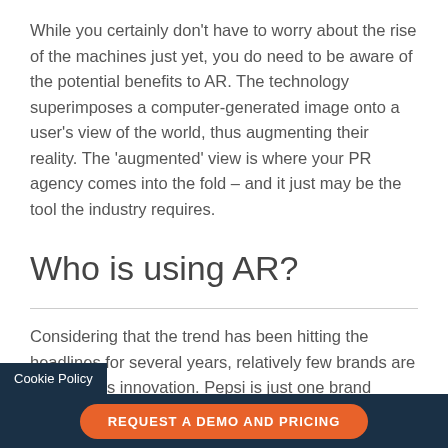While you certainly don't have to worry about the rise of the machines just yet, you do need to be aware of the potential benefits to AR. The technology superimposes a computer-generated image onto a user's view of the world, thus augmenting their reality. The 'augmented' view is where your PR agency comes into the fold – and it just may be the tool the industry requires.
Who is using AR?
Considering that the trend has been hitting the headlines for several years, relatively few brands are utilising this innovation. Pepsi is just one brand getting creative with AR, turning an ordinary bus shelter to a…
Cookie Policy   REQUEST A DEMO AND PRICING